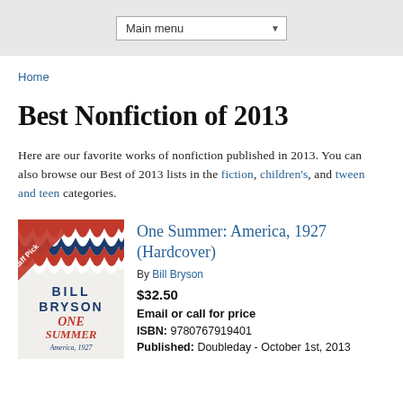Main menu
Home
Best Nonfiction of 2013
Here are our favorite works of nonfiction published in 2013. You can also browse our Best of 2013 lists in the fiction, children's, and tween and teen categories.
[Figure (illustration): Book cover of One Summer: America, 1927 by Bill Bryson with a Staff Pick ribbon]
One Summer: America, 1927 (Hardcover)
By Bill Bryson
$32.50
Email or call for price
ISBN: 9780767919401
Published: Doubleday - October 1st, 2013